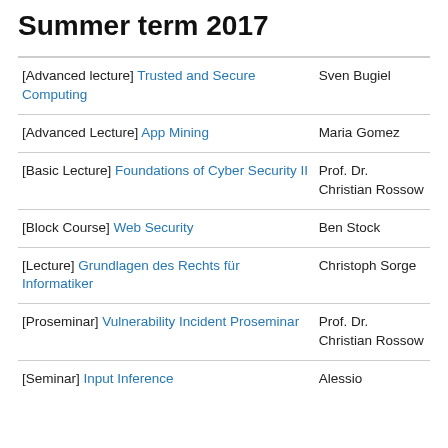Summer term 2017
| Course | Instructor |
| --- | --- |
| [Advanced lecture] Trusted and Secure Computing | Sven Bugiel |
| [Advanced Lecture] App Mining | Maria Gomez |
| [Basic Lecture] Foundations of Cyber Security II | Prof. Dr. Christian Rossow |
| [Block Course] Web Security | Ben Stock |
| [Lecture] Grundlagen des Rechts für Informatiker | Christoph Sorge |
| [Proseminar] Vulnerability Incident Proseminar | Prof. Dr. Christian Rossow |
| [Seminar] Input Inference | Alessio |